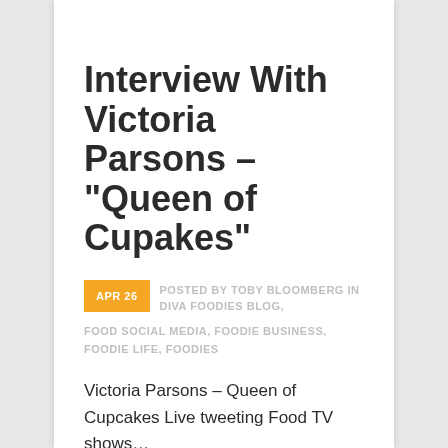Interview With Victoria Parsons – "Queen of Cupakes"
APR 26  POSTED BY TOBY BLOOMBERG IN DIVA FOODIES BLOG, FOOD SOCIAL MEDIA, FOODIE BUSINESS, FOODIE LIFE, FOODIES
Victoria Parsons – Queen of Cupcakes Live tweeting Food TV shows…